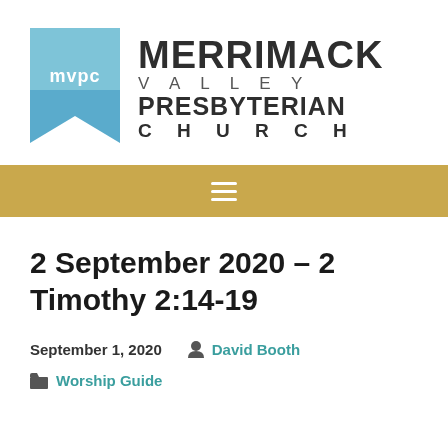[Figure (logo): Merrimack Valley Presbyterian Church logo with blue bookmark icon and 'mvpc' text, alongside church name in large bold lettering]
[Figure (other): Gold/tan navigation bar with white hamburger menu icon]
2 September 2020 – 2 Timothy 2:14-19
September 1, 2020   David Booth
Worship Guide